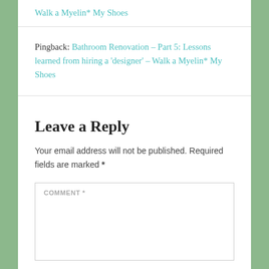Walk a Myelin* My Shoes
Pingback: Bathroom Renovation – Part 5: Lessons learned from hiring a 'designer' – Walk a Myelin* My Shoes
Leave a Reply
Your email address will not be published. Required fields are marked *
COMMENT *